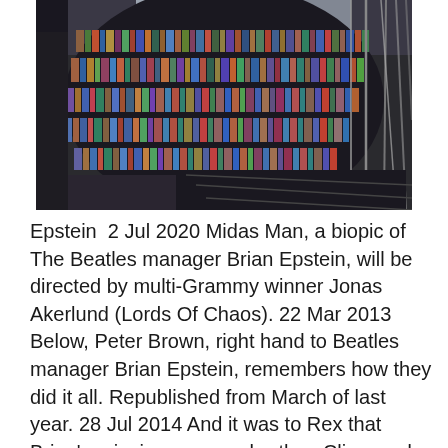[Figure (photo): Interior library photo with curved bookshelves filled with colorful books viewed from a low angle, with metal railings and skylights visible, shot through what appears to be a circular or oval opening.]
Epstein  2 Jul 2020 Midas Man, a biopic of The Beatles manager Brian Epstein, will be directed by multi-Grammy winner Jonas Akerlund (Lords Of Chaos). 22 Mar 2013 Below, Peter Brown, right hand to Beatles manager Brian Epstein, remembers how they did it all. Republished from March of last year. 28 Jul 2014 And it was to Rex that Brian's grieving younger brother, Clive, and mother